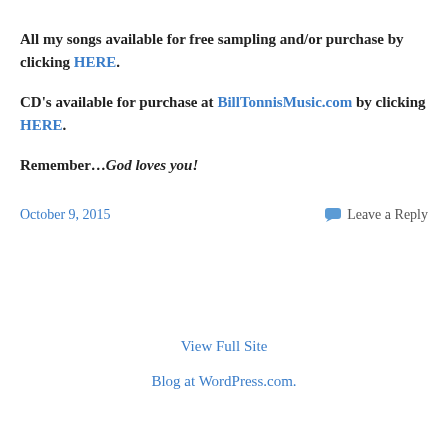All my songs available for free sampling and/or purchase by clicking HERE.
CD's available for purchase at BillTonnisMusic.com by clicking HERE.
Remember…God loves you!
October 9, 2015
Leave a Reply
View Full Site
Blog at WordPress.com.